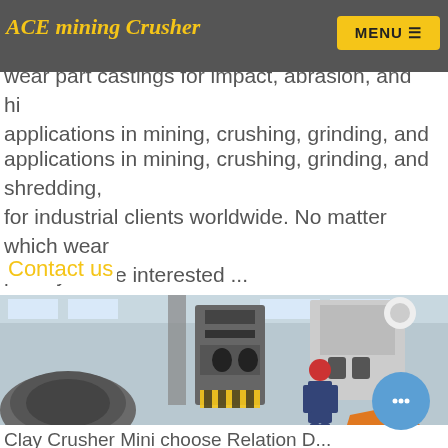ACE mining Crusher | MENU
manufacturer in China. We manufacture replacement wear part castings for impact, abrasion, and high applications in mining, crushing, grinding, and shredding, for industrial clients worldwide. No matter which wear parts you are interested ...
Contact us
[Figure (photo): Industrial factory floor with heavy machinery and a worker in red helmet and blue coveralls operating equipment. Large machining and crushing equipment visible in background.]
Clay Crusher Mini choose Relation D...